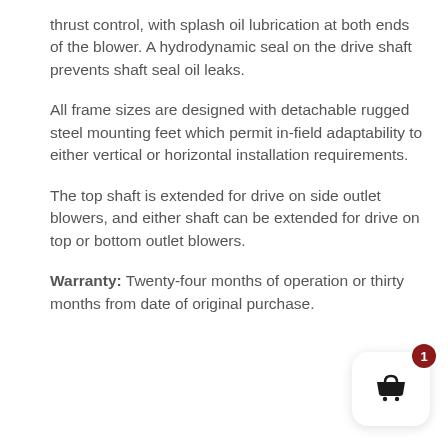thrust control, with splash oil lubrication at both ends of the blower. A hydrodynamic seal on the drive shaft prevents shaft seal oil leaks.
All frame sizes are designed with detachable rugged steel mounting feet which permit in-field adaptability to either vertical or horizontal installation requirements.
The top shaft is extended for drive on side outlet blowers, and either shaft can be extended for drive on top or bottom outlet blowers.
Warranty: Twenty-four months of operation or thirty months from date of original purchase.
[Figure (illustration): Shopping cart icon with badge showing count '1', displayed in a rounded white card with shadow in the bottom-right corner of the page.]